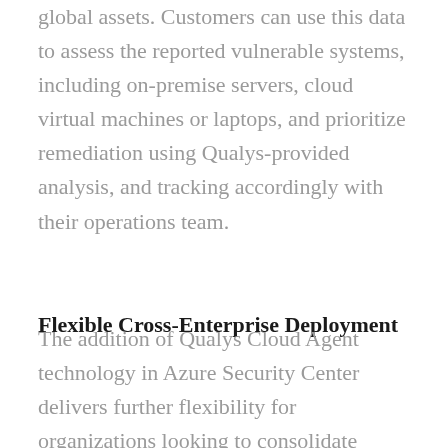global assets. Customers can use this data to assess the reported vulnerable systems, including on-premise servers, cloud virtual machines or laptops, and prioritize remediation using Qualys-provided analysis, and tracking accordingly with their operations team.
Flexible Cross-Enterprise Deployment
The addition of Qualys Cloud Agent technology in Azure Security Center delivers further flexibility for organizations looking to consolidate cross-enterprise visibility and control of IT